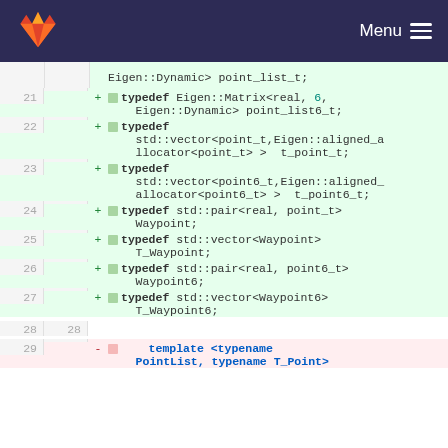GitLab Menu
Code diff view showing typedef declarations for Eigen matrix types and waypoint types in C++
21 + typedef Eigen::Matrix<real, 6, Eigen::Dynamic> point_list6_t;
22 + typedef std::vector<point_t,Eigen::aligned_allocator<point_t> >  t_point_t;
23 + typedef std::vector<point6_t,Eigen::aligned_allocator<point6_t> >  t_point6_t;
24 + typedef std::pair<real, point_t> Waypoint;
25 + typedef std::vector<Waypoint> T_Waypoint;
26 + typedef std::pair<real, point6_t> Waypoint6;
27 + typedef std::vector<Waypoint6> T_Waypoint6;
28   
29 -     template <typename PointList, typename T_Point>